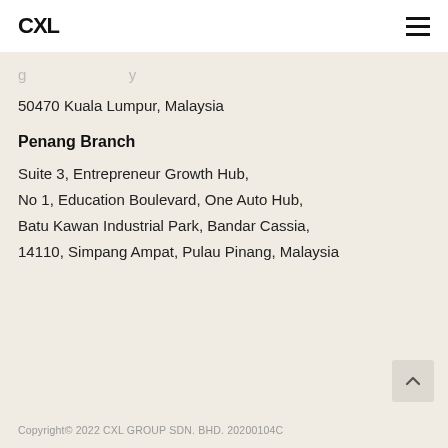CXL
50470 Kuala Lumpur, Malaysia
Penang Branch
Suite 3, Entrepreneur Growth Hub,
No 1, Education Boulevard, One Auto Hub,
Batu Kawan Industrial Park, Bandar Cassia,
14110, Simpang Ampat, Pulau Pinang, Malaysia
Copyright© 2022 CXL GROUP SDN. BHD. 20200104C